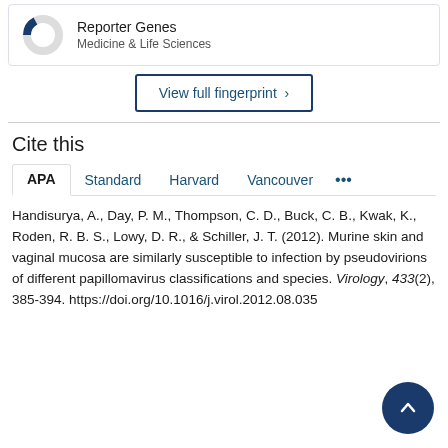[Figure (donut-chart): Partial donut/pie chart showing Reporter Genes, approximately 17% filled in dark blue, rest grey]
Reporter Genes
Medicine & Life Sciences
View full fingerprint ›
Cite this
APA   Standard   Harvard   Vancouver   ...
Handisurya, A., Day, P. M., Thompson, C. D., Buck, C. B., Kwak, K., Roden, R. B. S., Lowy, D. R., & Schiller, J. T. (2012). Murine skin and vaginal mucosa are similarly susceptible to infection by pseudovirions of different papillomavirus classifications and species. Virology, 433(2), 385-394. https://doi.org/10.1016/j.virol.2012.08.035